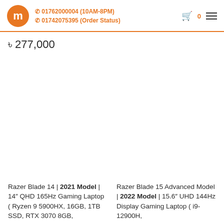m 01762000004 (10AM-8PM) 01742075395 (Order Status) 0
৳ 277,000
Razer Blade 14 | 2021 Model | 14" QHD 165Hz Gaming Laptop ( Ryzen 9 5900HX, 16GB, 1TB SSD, RTX 3070 8GB,
Razer Blade 15 Advanced Model | 2022 Model | 15.6" UHD 144Hz Display Gaming Laptop ( i9-12900H,